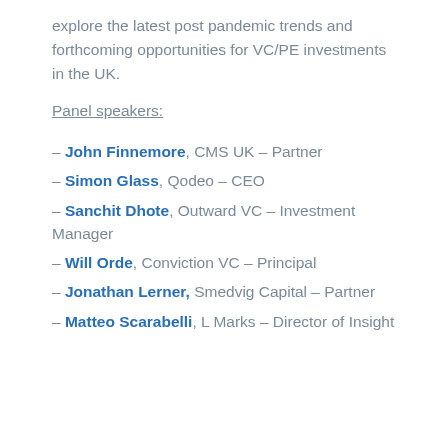explore the latest post pandemic trends and forthcoming opportunities for VC/PE investments in the UK.
Panel speakers:
– John Finnemore, CMS UK – Partner
– Simon Glass, Qodeo – CEO
– Sanchit Dhote, Outward VC – Investment Manager
– Will Orde, Conviction VC – Principal
– Jonathan Lerner, Smedvig Capital – Partner
– Matteo Scarabelli, L Marks – Director of Insight